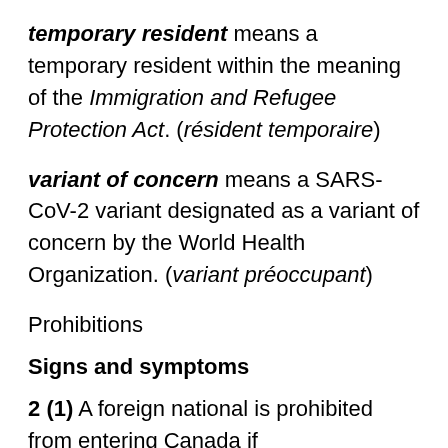temporary resident means a temporary resident within the meaning of the Immigration and Refugee Protection Act. (résident temporaire)
variant of concern means a SARS-CoV-2 variant designated as a variant of concern by the World Health Organization. (variant préoccupant)
Prohibitions
Signs and symptoms
2 (1) A foreign national is prohibited from entering Canada if